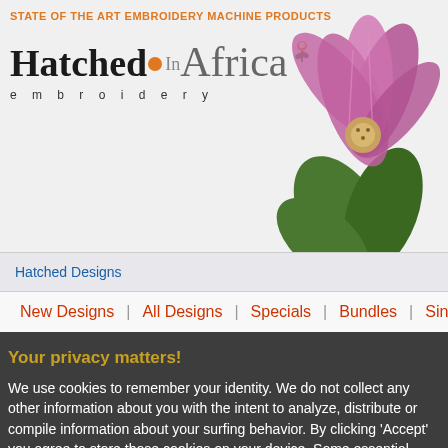STATE OF THE ART EMBROIDERY MACHINE PRODUCTS
[Figure (logo): Hatched In Africa Embroidery logo with orange dot and decorative flower illustration]
Hatched Designs
New Designs | All Designs | Specials | Bundles | Singles | Freeb
Your privacy matters!
We use cookies to remember your identity. We do not collect any other information about you with the intent to analyze, distribute or compile information about your surfing behavior. By clicking 'Accept' you agree to store those cookies on your device. Some essential pages will no longer work when you disagree and select 'Reject'
Reject   Agree